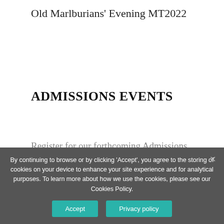Old Marlburians' Evening MT2022
ADMISSIONS EVENTS
Register for our forthcoming Admissions Events at Marlborough College Malaysia
[Figure (other): Red button with text REGISTER HERE]
By continuing to browse or by clicking 'Accept', you agree to the storing of cookies on your device to enhance your site experience and for analytical purposes. To learn more about how we use the cookies, please see our Cookies Policy.
Accept   Privacy policy